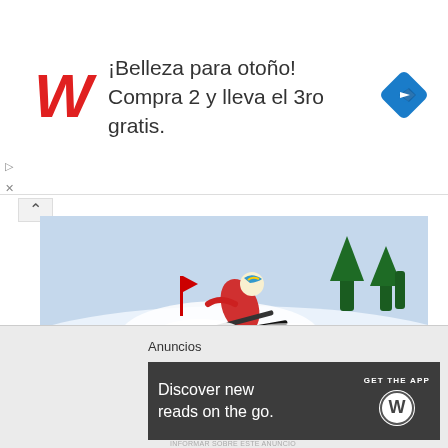[Figure (screenshot): Walgreens advertisement banner: red cursive W logo on left, blue diamond navigation icon on right, text '¡Belleza para otoño! Compra 2 y lleva el 3ro gratis.' in center]
[Figure (photo): A skier in red and colorful gear racing down a snowy slope, snow spraying dramatically]
Gorilla congolium sic ad nauseum
[Figure (screenshot): WordPress app advertisement banner: dark gray background, text 'Discover new reads on the go.' with 'GET THE APP' and WordPress logo]
Anuncios
INFORMAR SOBRE ESTE ANUNCIO